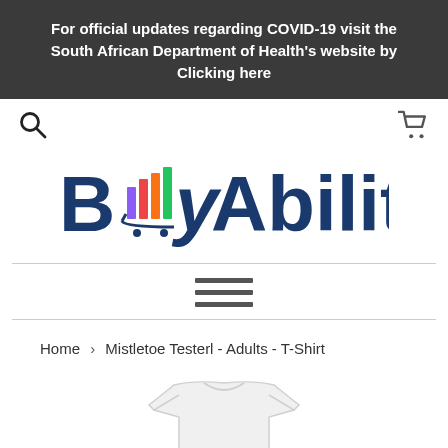For official updates regarding COVID-19 visit the South African Department of Health's website by Clicking here
[Figure (logo): BuyAbility e-commerce logo with shopping cart icon integrated into the text]
Home › Mistletoe Testerl - Adults - T-Shirt
[Figure (photo): White adult t-shirt product photo, partially visible at bottom of page]